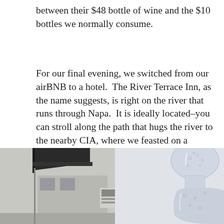between their $48 bottle of wine and the $10 bottles we normally consume.
For our final evening, we switched from our airBNB to a hotel.  The River Terrace Inn, as the name suggests, is right on the river that runs through Napa.  It is ideally located–you can stroll along the path that hugs the river to the nearby CIA, where we feasted on a wonderful, and inexpensive dinner. (That's Culinary Institute of America, not the spy organization–although their food is probably delicious too.)
[Figure (photo): Two photos side by side: left shows a building exterior with a dark roof overhang and a small illuminated display or sign below; right shows a decorative glass sculpture or vessel with intricate bubble/texture patterns.]